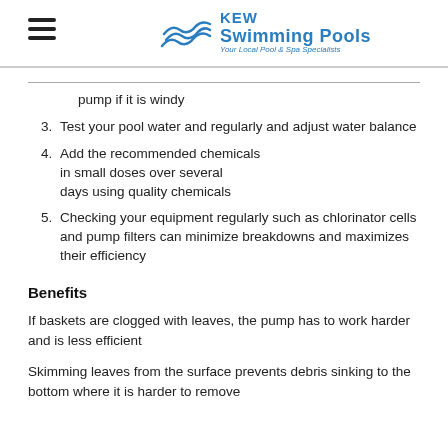KEW Swimming Pools — Your Local Pool & Spa Specialists
pump if it is windy
Test your pool water and regularly and adjust water balance
Add the recommended chemicals in small doses over several days using quality chemicals
Checking your equipment regularly such as chlorinator cells and pump filters can minimize breakdowns and maximizes their efficiency
Benefits
If baskets are clogged with leaves, the pump has to work harder and is less efficient
Skimming leaves from the surface prevents debris sinking to the bottom where it is harder to remove